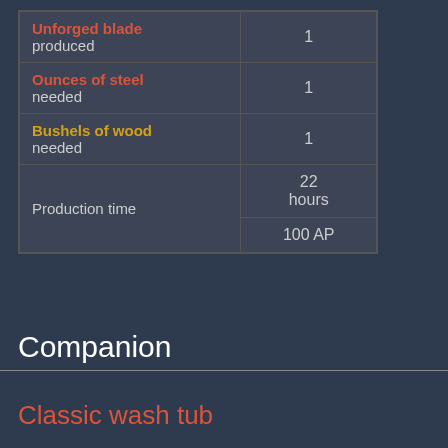|  |  |
| --- | --- |
| Unforged blade produced | 1 |
| Ounces of steel needed | 1 |
| Bushels of wood needed | 1 |
| Production time | 22 hours
100 AP |
Companion
Classic wash tub